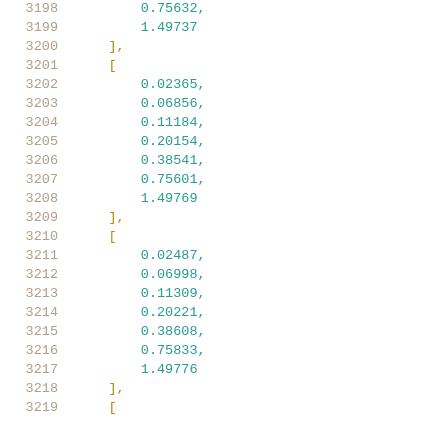Code listing lines 3198-3219 showing nested numeric arrays with line numbers
3198: 0.75632,
3199: 1.49737
3200: ],
3201: [
3202: 0.02365,
3203: 0.06856,
3204: 0.11184,
3205: 0.20154,
3206: 0.38541,
3207: 0.75601,
3208: 1.49769
3209: ],
3210: [
3211: 0.02487,
3212: 0.06998,
3213: 0.11309,
3214: 0.20221,
3215: 0.38608,
3216: 0.75833,
3217: 1.49776
3218: ],
3219: [